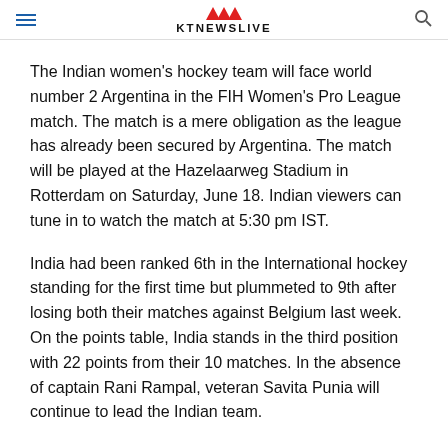KTNEWSLIVE
The Indian women's hockey team will face world number 2 Argentina in the FIH Women's Pro League match. The match is a mere obligation as the league has already been secured by Argentina. The match will be played at the Hazelaarweg Stadium in Rotterdam on Saturday, June 18. Indian viewers can tune in to watch the match at 5:30 pm IST.
India had been ranked 6th in the International hockey standing for the first time but plummeted to 9th after losing both their matches against Belgium last week. On the points table, India stands in the third position with 22 points from their 10 matches. In the absence of captain Rani Rampal, veteran Savita Punia will continue to lead the Indian team.
Meanwhile, the Argentina team will be looking to test their